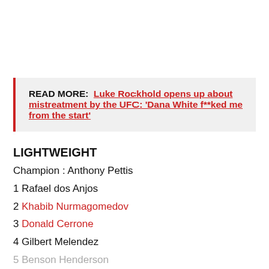READ MORE: Luke Rockhold opens up about mistreatment by the UFC: 'Dana White f**ked me from the start'
LIGHTWEIGHT
Champion : Anthony Pettis
1 Rafael dos Anjos
2 Khabib Nurmagomedov
3 Donald Cerrone
4 Gilbert Melendez
5 Benson Henderson
6 Edson Barboza